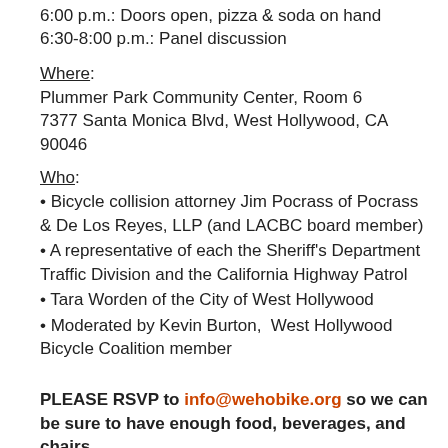6:00 p.m.: Doors open, pizza & soda on hand
6:30-8:00 p.m.: Panel discussion
Where:
Plummer Park Community Center, Room 6
7377 Santa Monica Blvd, West Hollywood, CA 90046
Who:
• Bicycle collision attorney Jim Pocrass of Pocrass & De Los Reyes, LLP (and LACBC board member)
• A representative of each the Sheriff's Department Traffic Division and the California Highway Patrol
• Tara Worden of the City of West Hollywood
• Moderated by Kevin Burton,  West Hollywood Bicycle Coalition member
PLEASE RSVP to info@wehobike.org so we can be sure to have enough food, beverages, and chairs.